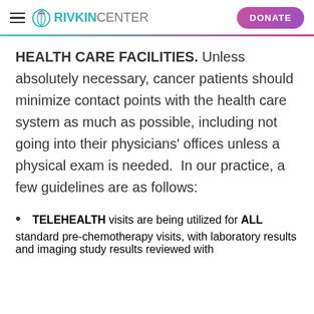RIVKIN CENTER | DONATE
HEALTH CARE FACILITIES. Unless absolutely necessary, cancer patients should minimize contact points with the health care system as much as possible, including not going into their physicians' offices unless a physical exam is needed. In our practice, a few guidelines are as follows:
TELEHEALTH visits are being utilized for ALL standard pre-chemotherapy visits, with laboratory results and imaging study results reviewed with